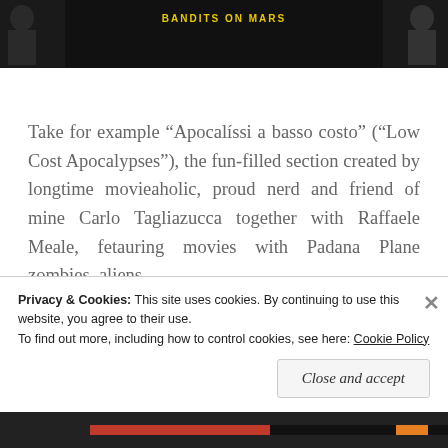[Figure (photo): Dark banner image with yellow text 'BANDITS ON MARS' in the center top, dark figures on left and right sides against black background]
Take for example “Apocalíssi a basso costo” (“Low Cost Apocalypses”), the fun-filled section created by longtime movieaholic, proud nerd and friend of mine Carlo Tagliazucca together with Raffaele Meale, fetauring movies with Padana Plane zombies, aliens,
Privacy & Cookies: This site uses cookies. By continuing to use this website, you agree to their use.
To find out more, including how to control cookies, see here: Cookie Policy
Close and accept